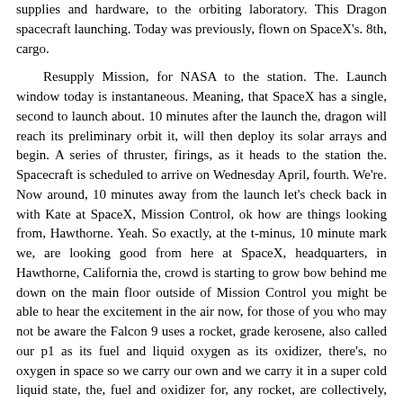supplies and hardware, to the orbiting laboratory. This Dragon spacecraft launching. Today was previously, flown on SpaceX's. 8th, cargo.
Resupply Mission, for NASA to the station. The. Launch window today is instantaneous. Meaning, that SpaceX has a single, second to launch about. 10 minutes after the launch the, dragon will reach its preliminary orbit it, will then deploy its solar arrays and begin. A series of thruster, firings, as it heads to the station the. Spacecraft is scheduled to arrive on Wednesday April, fourth. We're. Now around, 10 minutes away from the launch let's check back in with Kate at SpaceX, Mission Control, ok how are things looking from, Hawthorne. Yeah. So exactly, at the t-minus, 10 minute mark we, are looking good from here at SpaceX, headquarters, in Hawthorne, California the, crowd is starting to grow bow behind me down on the main floor outside of Mission Control you might be able to hear the excitement in the air now, for those of you who may not be aware the Falcon 9 uses a rocket, grade kerosene, also called our p1 as its fuel and liquid oxygen as its oxidizer, there's, no oxygen in space so we carry our own and we carry it in a super cold liquid state, the, fuel and oxidizer for, any rocket, are collectively, referred to as propellants and as, of right now propellant. Loading for Falcon 9 is currently underway we, expect that prop loading to be complete around the t-minus, 5 minute mark dragon. Is in good shape for launch as well it began its Auto sequence at the t-minus, 35 minute, mark that's when Dragons computers coordinate, timing with Falcon nines computers, and make sure that all systems are healthy, the, next big step for Dragon is to switch from ground to internal, power which should be happening about any moment now we're, launching from Space Launch Complex 40. Today which is located, at Cape Canaveral Air Force Station, so we've got the Air Force's 45th, Space Wing supporting, this launch, looks, like the range is ready to go and tracking no issues, at this time and finally, whether it's tracking positively, as well so, at t-minus, eight minutes and forty some seconds we are go for launch of CRS-14. Thanks